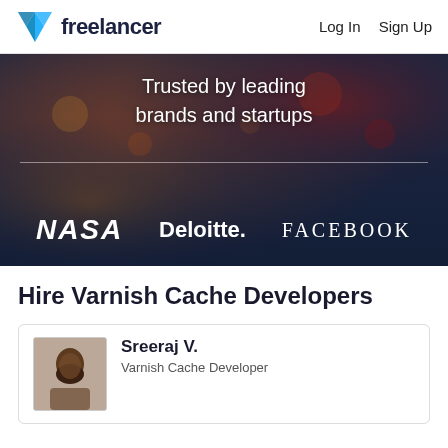freelancer  Log In  Sign Up
[Figure (screenshot): Freelancer.com hero banner with dark background showing colorful bokeh lighting and text 'Trusted by leading brands and startups' with a horizontal divider, and logos for NASA, Deloitte., and FACEBOOK]
Hire Varnish Cache Developers
Sreeraj V. — Varnish Cache Developer